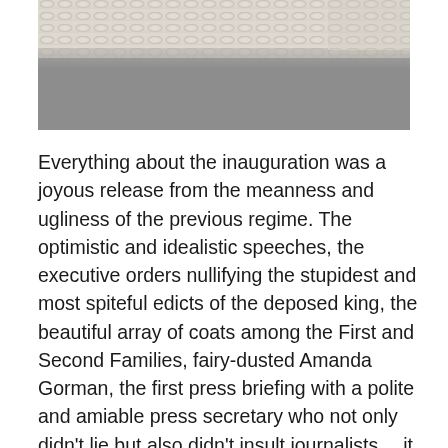[Figure (photo): Close-up photo of knitted or woven fabric texture in cream/beige color at top, with gray textured background below]
Everything about the inauguration was a joyous release from the meanness and ugliness of the previous regime. The optimistic and idealistic speeches, the executive orders nullifying the stupidest and most spiteful edicts of the deposed king, the beautiful array of coats among the First and Second Families, fairy-dusted Amanda Gorman, the first press briefing with a polite and amiable press secretary who not only didn't lie but also didn't insult journalists… it was like a miracle, it was like the way we used to be, and it felt as if we were finally celebrating the New Year, 20 days late. And then there was Bernie Sanders, cross-legged and hunched against the cold on his metal folding chair in his gray parka and upcycled